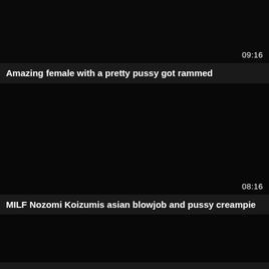[Figure (screenshot): Black video thumbnail with duration 09:16 in bottom right]
Amazing female with a pretty pussy got rammed
[Figure (screenshot): Black video thumbnail with duration 08:16 in bottom right]
MILF Nozomi Koizumis asian blowjob and pussy creampie
[Figure (screenshot): Black video thumbnail, partially visible at bottom]